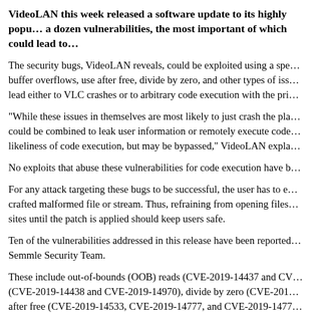VideoLAN this week released a software update to its highly popular VLC media player to fix a dozen vulnerabilities, the most important of which could lead to remote code execution.
The security bugs, VideoLAN reveals, could be exploited using a specially crafted media file. The bugs include buffer overflows, use after free, divide by zero, and other types of issues, and the vulnerabilities could lead either to VLC crashes or to arbitrary code execution with the privileges of the target user.
“While these issues in themselves are most likely to just crash the player, we believe that some of them could be combined to leak user information or remotely execute code. ASLR and DEP help reduce the likeliness of code execution, but may be bypassed,” VideoLAN explains.
No exploits that abuse these vulnerabilities for code execution have been found in the wild yet.
For any attack targeting these bugs to be successful, the user has to explicitly open a maliciously crafted malformed file or stream. Thus, refraining from opening files from untrusted third-party sites until the patch is applied should keep users safe.
Ten of the vulnerabilities addressed in this release have been reported through GitHub by the Semmle Security Team.
These include out-of-bounds (OOB) reads (CVE-2019-14437 and CVE-2019-14436), heap overflows (CVE-2019-14438 and CVE-2019-14970), divide by zero (CVE-2019-14439 and CVE-2019-14499), use after free (CVE-2019-14533, CVE-2019-14777, and CVE-2019-14778), and a stack overflow (CVE-2019-14534).